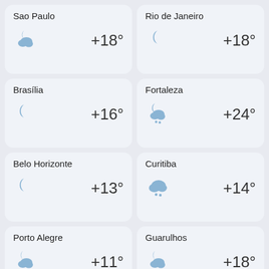Sao Paulo +18°
Rio de Janeiro +18°
Brasília +16°
Fortaleza +24°
Belo Horizonte +13°
Curitiba +14°
Porto Alegre +11°
Guarulhos +18°
Campinas +17°
Nova Iguacu +18°
Duque de Caxias
Teresina